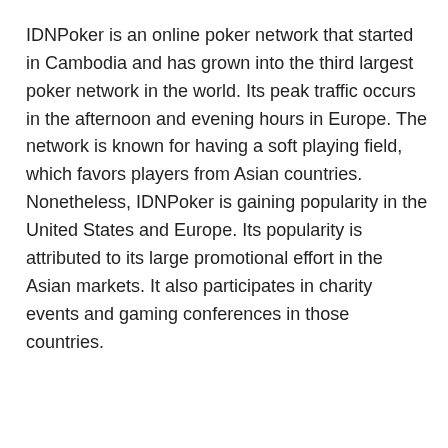make money with the game.
IDNPoker is an online poker network that started in Cambodia and has grown into the third largest poker network in the world. Its peak traffic occurs in the afternoon and evening hours in Europe. The network is known for having a soft playing field, which favors players from Asian countries. Nonetheless, IDNPoker is gaining popularity in the United States and Europe. Its popularity is attributed to its large promotional effort in the Asian markets. It also participates in charity events and gaming conferences in those countries.